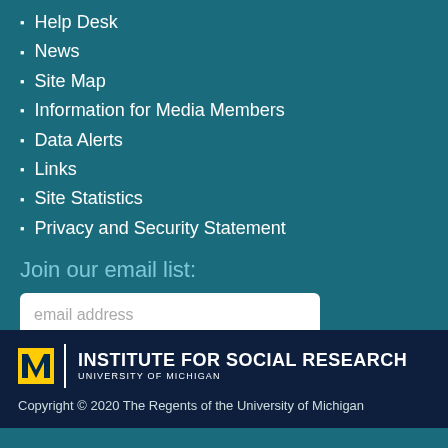Help Desk
News
Site Map
Information for Media Members
Data Alerts
Links
Site Statistics
Privacy and Security Statement
Join our email list:
email address
Subscribe
INSTITUTE FOR SOCIAL RESEARCH UNIVERSITY OF MICHIGAN
Copyright © 2020 The Regents of the University of Michigan